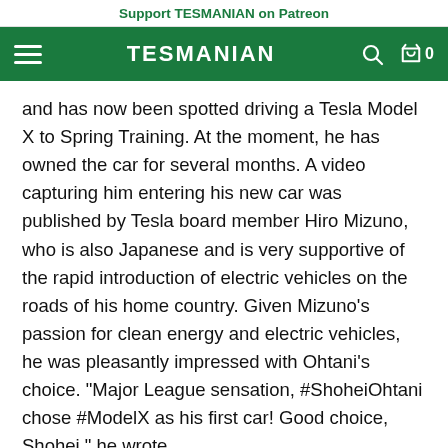Support TESMANIAN on Patreon
TESMANIAN
and has now been spotted driving a Tesla Model X to Spring Training. At the moment, he has owned the car for several months. A video capturing him entering his new car was published by Tesla board member Hiro Mizuno, who is also Japanese and is very supportive of the rapid introduction of electric vehicles on the roads of his home country. Given Mizuno's passion for clean energy and electric vehicles, he was pleasantly impressed with Ohtani's choice. "Major League sensation, #ShoheiOhtani chose #ModelX as his first car! Good choice, Shohei," he wrote.
🔁 ♥️
— Elon Musk (@elonmusk) July 9, 2021